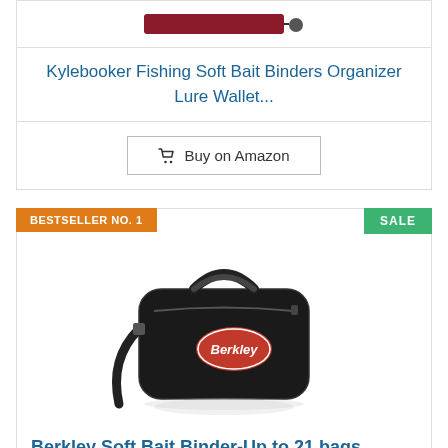[Figure (photo): Top portion of a fishing lure wallet product image (partially cropped), showing red/maroon item with clip]
Kylebooker Fishing Soft Bait Binders Organizer Lure Wallet...
Buy on Amazon
BESTSELLER NO. 1
SALE
[Figure (photo): Black Berkley Soft Bait Binder bag with handle and shoulder strap, featuring the Berkley logo on the front]
Berkley Soft Bait Binder-Up to 21 bags, Black, 11 x 7-Inch